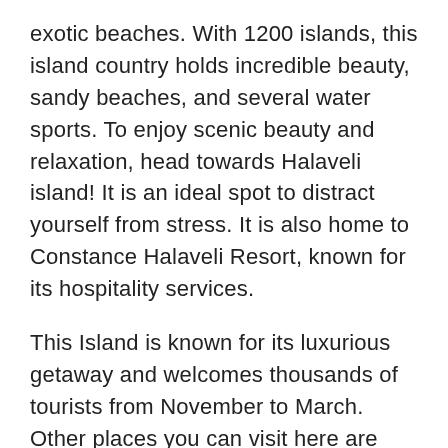exotic beaches. With 1200 islands, this island country holds incredible beauty, sandy beaches, and several water sports. To enjoy scenic beauty and relaxation, head towards Halaveli island! It is an ideal spot to distract yourself from stress. It is also home to Constance Halaveli Resort, known for its hospitality services.
This Island is known for its luxurious getaway and welcomes thousands of tourists from November to March. Other places you can visit here are Anantara Veli Maldives resort, Anantara Dhigu Maldives resort, and Exotica Resort and Spa. Another interesting location that you can visit in the Maldives is Majeedhee Magu.
It is famous for street shopping and a range of delectable treats that you can savor upon. To